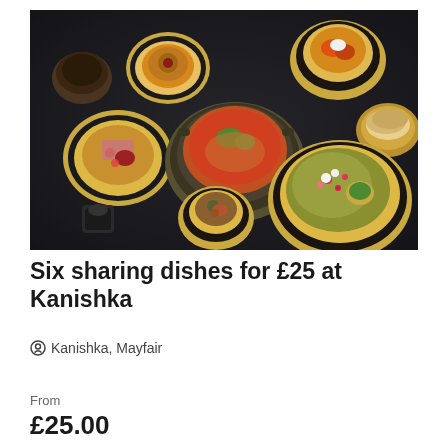[Figure (photo): Overhead shot of multiple ornate gold dishes on a dark surface, featuring various Indian sharing dishes including curry, bread, and small appetizers at Kanishka restaurant]
Six sharing dishes for £25 at Kanishka
Kanishka, Mayfair
From
£25.00